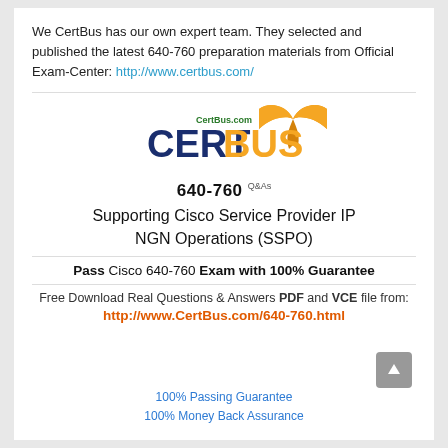We CertBus has our own expert team. They selected and published the latest 640-760 preparation materials from Official Exam-Center: http://www.certbus.com/
[Figure (logo): CertBus logo with orange flag/banner icon and green CertBus.com text above dark blue CERT and orange BUS lettering]
640-760 Q&As
Supporting Cisco Service Provider IP NGN Operations (SSPO)
Pass Cisco 640-760 Exam with 100% Guarantee
Free Download Real Questions & Answers PDF and VCE file from:
http://www.CertBus.com/640-760.html
100% Passing Guarantee
100% Money Back Assurance